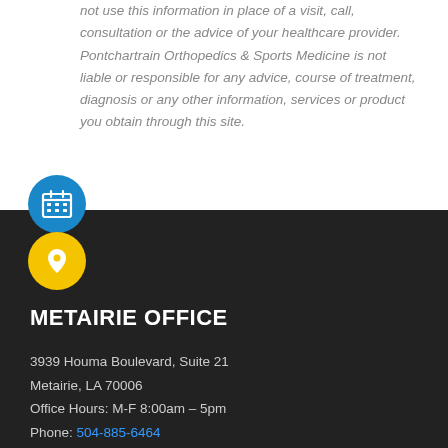not use this information in place of a visit, call, consultation or the advice of your healthcare provider. Pontchartrain Orthopedics & Sports Medicine is not liable or responsible for any advice, course of treatment, diagnosis or any other information, services or product you obtain through this site.
[Figure (illustration): Blue circle icon with white calendar grid symbol]
[Figure (illustration): Yellow circle icon with white map/location pin symbol]
METAIRIE OFFICE
3939 Houma Boulevard, Suite 21
Metairie, LA 70006
Office Hours: M-F 8:00am – 5pm
Phone: 504-885-6464